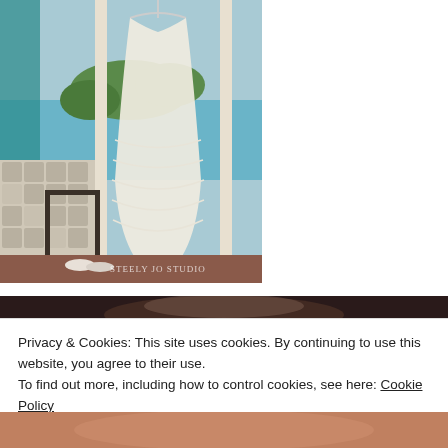[Figure (photo): Wedding dress hanging in a doorway/balcony area with watermark 'STEELY JO STUDIO' at bottom right. View of water and trees in background.]
[Figure (photo): Partial photo of a person's face/hair, dark background, visible at top and bottom of page behind the cookie banner.]
Privacy & Cookies: This site uses cookies. By continuing to use this website, you agree to their use.
To find out more, including how to control cookies, see here: Cookie Policy
Close and accept